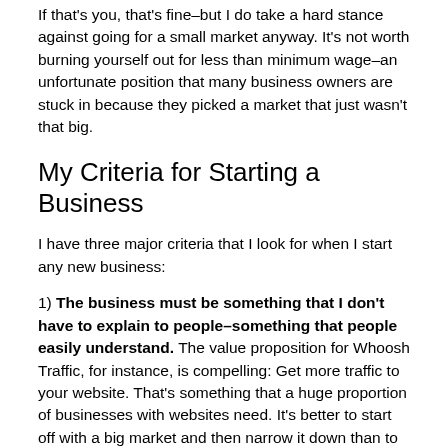If that's you, that's fine–but I do take a hard stance against going for a small market anyway. It's not worth burning yourself out for less than minimum wage–an unfortunate position that many business owners are stuck in because they picked a market that just wasn't that big.
My Criteria for Starting a Business
I have three major criteria that I look for when I start any new business:
1) The business must be something that I don't have to explain to people–something that people easily understand. The value proposition for Whoosh Traffic, for instance, is compelling: Get more traffic to your website. That's something that a huge proportion of businesses with websites need. It's better to start off with a big market and then narrow it down than to start off with a small market filled with only a handful of people.
2) It's something I can charge a lot of money for and have a relatively small customer base to be successful. When I sold my hosting company for $1.1 million, we only had 161 customers. But they were paying us an average of $425/month. That's over $800,000/year in revenue from a small customer base. I didn't need 80,000 customers